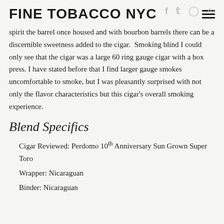FINE TOBACCO NYC
spirit the barrel once housed and with bourbon barrels there can be a discernible sweetness added to the cigar. Smoking blind I could only see that the cigar was a large 60 ring gauge cigar with a box press. I have stated before that I find larger gauge smokes uncomfortable to smoke, but I was pleasantly surprised with not only the flavor characteristics but this cigar's overall smoking experience.
Blend Specifics
Cigar Reviewed: Perdomo 10th Anniversary Sun Grown Super Toro
Wrapper: Nicaraguan
Binder: Nicaraguan